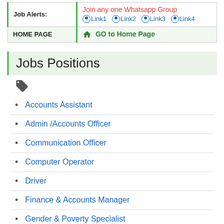|  |  |
| --- | --- |
| Job Alerts: | Join any one Whatsapp Group
☉ Link1 ☉ Link2 ☉ Link3 ☉ Link4 |
| HOME PAGE | 🏠 GO to Home Page |
Jobs Positions
[Figure (other): Tag/label icon]
Accounts Assistant
Admin /Accounts Officer
Communication Officer
Computer Operator
Driver
Finance & Accounts Manager
Gender & Poverty Specialist